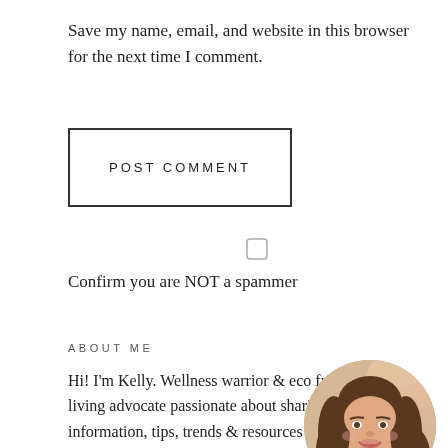Save my name, email, and website in this browser for the next time I comment.
POST COMMENT
[Figure (other): Checkbox input element (unchecked)]
Confirm you are NOT a spammer
ABOUT ME
Hi! I'm Kelly. Wellness warrior & eco friendly living advocate passionate about sharing information, tips, trends & resources that will help you go glamorously green & live your
[Figure (photo): Circular portrait photo of a woman with long brown wavy hair, smiling, with a floral background.]